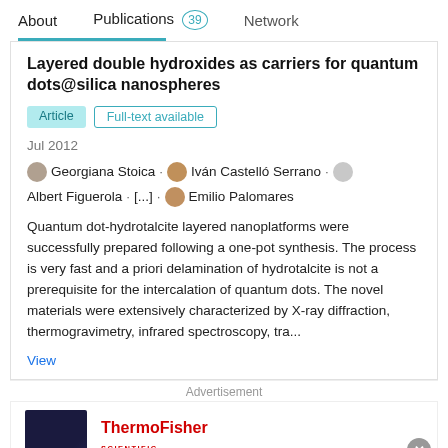About   Publications 39   Network
Layered double hydroxides as carriers for quantum dots@silica nanospheres
Article   Full-text available
Jul 2012
Georgiana Stoica · Iván Castelló Serrano · Albert Figuerola · [...] · Emilio Palomares
Quantum dot-hydrotalcite layered nanoplatforms were successfully prepared following a one-pot synthesis. The process is very fast and a priori delamination of hydrotalcite is not a prerequisite for the intercalation of quantum dots. The novel materials were extensively characterized by X-ray diffraction, thermogravimetry, infrared spectroscopy, tra...
View
Advertisement
Gene Synthesis Handbook